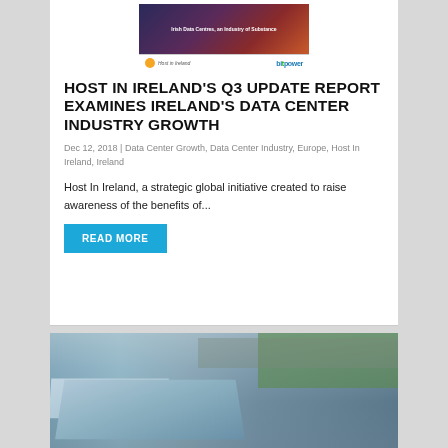[Figure (illustration): Host In Ireland report banner/cover with logos for 'Host to Ireland' and 'bitpower']
HOST IN IRELAND'S Q3 UPDATE REPORT EXAMINES IRELAND'S DATA CENTER INDUSTRY GROWTH
Dec 12, 2018 | Data Center Growth, Data Center Industry, Europe, Host In Ireland, Ireland
Host In Ireland, a strategic global initiative created to raise awareness of the benefits of...
READ MORE
[Figure (photo): Aerial photograph of a data center facility with large industrial buildings, parking areas, and green fields]